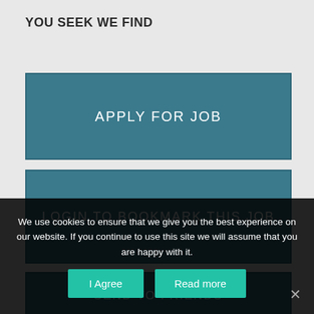YOU SEEK WE FIND
[Figure (screenshot): Button labeled APPLY FOR JOB with teal/dark blue background]
[Figure (screenshot): Button labeled LOGIN TO BOOKMARK THIS JOB with teal/dark blue background]
[Figure (screenshot): Button labeled SEND TO FRIENDS with teal/dark blue background, partially visible]
We use cookies to ensure that we give you the best experience on our website. If you continue to use this site we will assume that you are happy with it.
I Agree
Read more